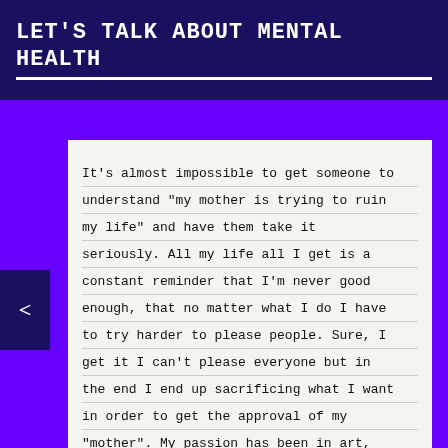LET'S TALK ABOUT MENTAL HEALTH
It's almost impossible to get someone to understand "my mother is trying to ruin my life" and have them take it seriously. All my life all I get is a constant reminder that I'm never good enough, that no matter what I do I have to try harder to please people. Sure, I get it I can't please everyone but in the end I end up sacrificing what I want in order to get the approval of my "mother". My passion has been in art, it's my way of escaping the harsh reality, my love. Yet no matter how many